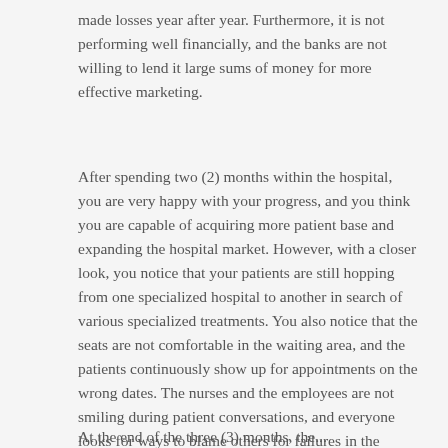made losses year after year. Furthermore, it is not performing well financially, and the banks are not willing to lend it large sums of money for more effective marketing.
After spending two (2) months within the hospital, you are very happy with your progress, and you think you are capable of acquiring more patient base and expanding the hospital market. However, with a closer look, you notice that your patients are still hopping from one specialized hospital to another in search of various specialized treatments. You also notice that the seats are not comfortable in the waiting area, and the patients continuously show up for appointments on the wrong dates. The nurses and the employees are not smiling during patient conversations, and everyone looks for ways to blame others for failures in the patient treatment process. Everyone seems to work alone and hide what they do from their colleagues.
At the end of the three (3) months, the...